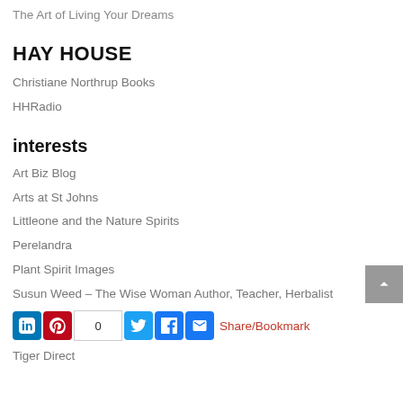The Art of Living Your Dreams
HAY HOUSE
Christiane Northrup Books
HHRadio
interests
Art Biz Blog
Arts at St Johns
Littleone and the Nature Spirits
Perelandra
Plant Spirit Images
Susun Weed – The Wise Woman Author, Teacher, Herbalist
[Figure (other): Social sharing bar with LinkedIn, Pinterest, count box (0), Twitter, Facebook, Email buttons and Share/Bookmark link]
Tiger Direct